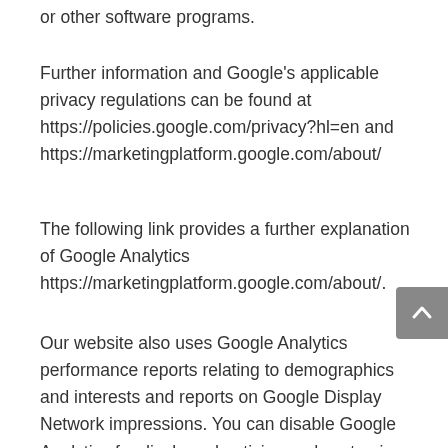or other software programs.
Further information and Google's applicable privacy regulations can be found at https://policies.google.com/privacy?hl=en and https://marketingplatform.google.com/about/
The following link provides a further explanation of Google Analytics https://marketingplatform.google.com/about/.
Our website also uses Google Analytics performance reports relating to demographics and interests and reports on Google Display Network impressions. You can disable Google Analytics for display advertising and customize the ads on the Google Display Network by visiting the ad settings at this link: https://adssettings.google.com.